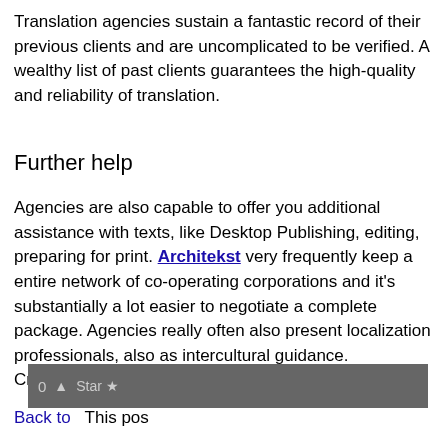Translation agencies sustain a fantastic record of their previous clients and are uncomplicated to be verified. A wealthy list of past clients guarantees the high-quality and reliability of translation.
Further help
Agencies are also capable to offer you additional assistance with texts, like Desktop Publishing, editing, preparing for print. Architekst very frequently keep a entire network of co-operating corporations and it's substantially a lot easier to negotiate a complete package. Agencies really often also present localization professionals, also as intercultural guidance.
Created at 2018-09-28 20:26
[Figure (screenshot): Toolbar with upvote and star buttons, overlaid by a popup with a green border showing 'Teya Salat' link and an X close button]
Back to
This po...